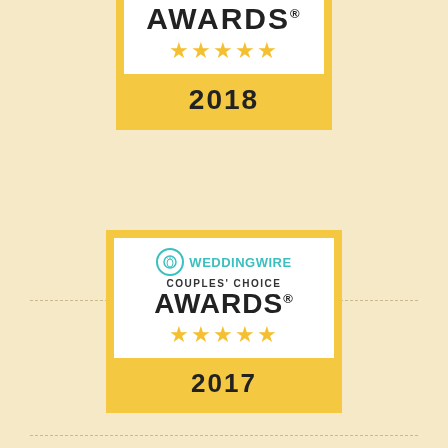[Figure (logo): WeddingWire Couples' Choice Awards 2018 badge with 5 gold stars and year 2018, partially cropped at top]
[Figure (logo): WeddingWire Couples' Choice Awards 2017 badge with 5 gold stars and year 2017]